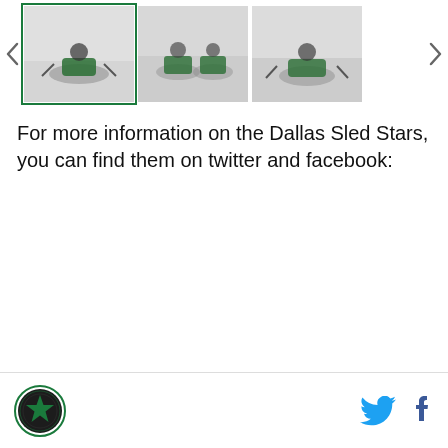[Figure (photo): Carousel of three thumbnail photos showing sled hockey players on ice, wearing green uniforms. The first thumbnail is highlighted with a green border. Navigation arrows on left and right sides.]
For more information on the Dallas Sled Stars, you can find them on twitter and facebook:
Dallas Stars logo on left; Twitter and Facebook icons on right